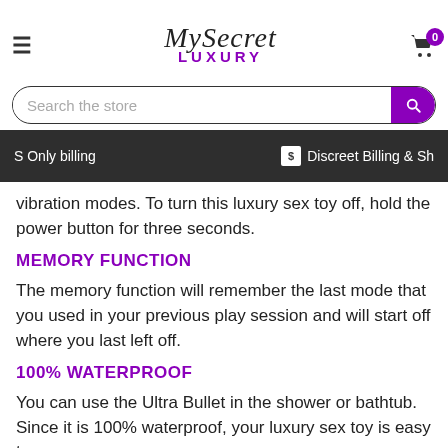MySecret LUXURY
vibration modes. To turn this luxury sex toy off, hold the power button for three seconds.
MEMORY FUNCTION
The memory function will remember the last mode that you used in your previous play session and will start off where you last left off.
100% WATERPROOF
You can use the Ultra Bullet in the shower or bathtub. Since it is 100% waterproof, your luxury sex toy is easy to